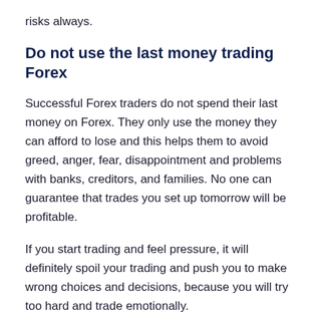risks always.
Do not use the last money trading Forex
Successful Forex traders do not spend their last money on Forex. They only use the money they can afford to lose and this helps them to avoid greed, anger, fear, disappointment and problems with banks, creditors, and families. No one can guarantee that trades you set up tomorrow will be profitable.
If you start trading and feel pressure, it will definitely spoil your trading and push you to make wrong choices and decisions, because you will try too hard and trade emotionally.